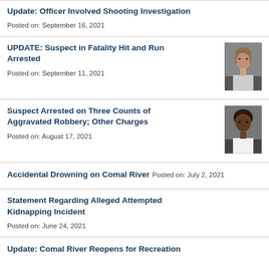Update: Officer Involved Shooting Investigation
Posted on: September 16, 2021
UPDATE: Suspect in Fatality Hit and Run Arrested
Posted on: September 11, 2021
[Figure (photo): Mugshot of suspect in Fatality Hit and Run case]
Suspect Arrested on Three Counts of Aggravated Robbery; Other Charges
Posted on: August 17, 2021
[Figure (photo): Mugshot of suspect in Aggravated Robbery case]
Accidental Drowning on Comal River
Posted on: July 2, 2021
Statement Regarding Alleged Attempted Kidnapping Incident
Posted on: June 24, 2021
Update: Comal River Reopens for Recreation